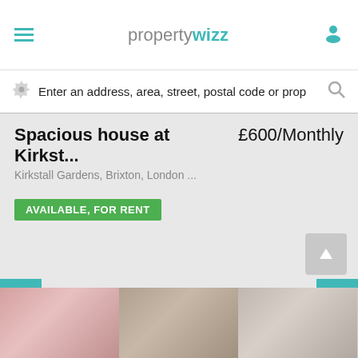propertywizz
Enter an address, area, street, postal code or prop
Spacious house at Kirkst...
£600/Monthly
Kirkstall Gardens, Brixton, London ...
AVAILABLE, FOR RENT
[Figure (photo): Property photo carousel with left and right navigation arrows]
[Figure (photo): Three thumbnail images of the property interior at the bottom of the page]